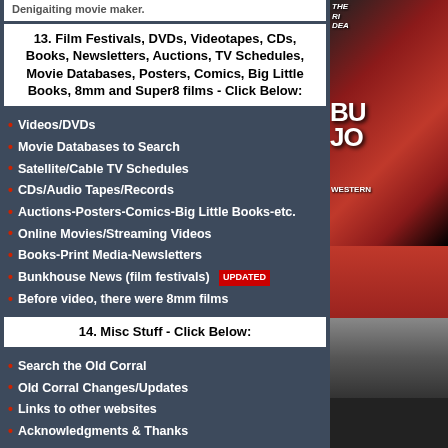13. Film Festivals, DVDs, Videotapes, CDs, Books, Newsletters, Auctions, TV Schedules, Movie Databases, Posters, Comics, Big Little Books, 8mm and Super8 films - Click Below:
Videos/DVDs
Movie Databases to Search
Satellite/Cable TV Schedules
CDs/Audio Tapes/Records
Auctions-Posters-Comics-Big Little Books-etc.
Online Movies/Streaming Videos
Books-Print Media-Newsletters
Bunkhouse News (film festivals) UPDATED
Before video, there were 8mm films
14. Misc Stuff - Click Below:
Search the Old Corral
Old Corral Changes/Updates
Links to other websites
Acknowledgments & Thanks
Chuck Anderson's Biography
About the Old Corral Website